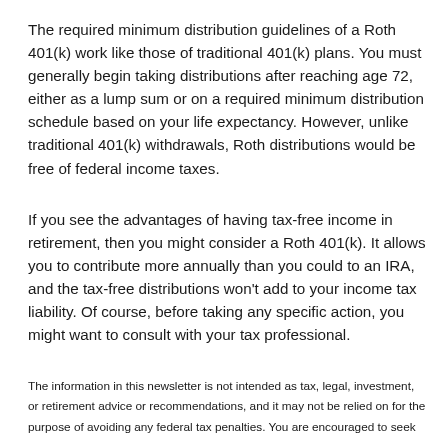The required minimum distribution guidelines of a Roth 401(k) work like those of traditional 401(k) plans. You must generally begin taking distributions after reaching age 72, either as a lump sum or on a required minimum distribution schedule based on your life expectancy. However, unlike traditional 401(k) withdrawals, Roth distributions would be free of federal income taxes.
If you see the advantages of having tax-free income in retirement, then you might consider a Roth 401(k). It allows you to contribute more annually than you could to an IRA, and the tax-free distributions won’t add to your income tax liability. Of course, before taking any specific action, you might want to consult with your tax professional.
The information in this newsletter is not intended as tax, legal, investment, or retirement advice or recommendations, and it may not be relied on for the purpose of avoiding any federal tax penalties. You are encouraged to seek